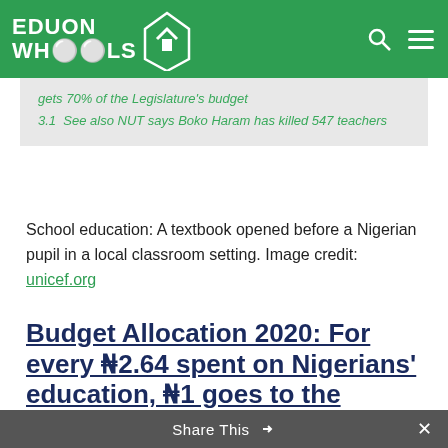EDUON WHOOLS
gets 70% of the Legislature's budget
3.1  See also NUT says Boko Haram has killed 547 teachers
School education: A textbook opened before a Nigerian pupil in a local classroom setting. Image credit: unicef.org
Budget Allocation 2020: For every ₦2.64 spent on Nigerians' education, ₦1 goes to the National Assembly (NASS)
Share This ×